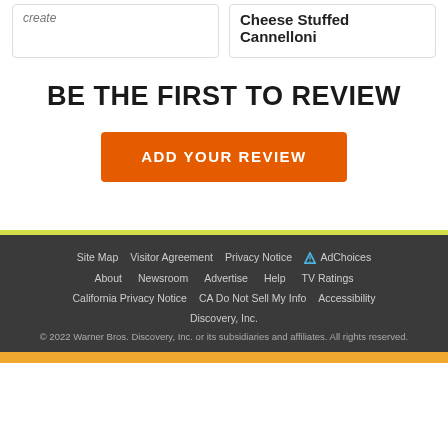Cheese Stuffed Cannelloni
BE THE FIRST TO REVIEW
ADD YOUR REVIEW
Site Map | Visitor Agreement | Privacy Notice | AdChoices | About | Newsroom | Advertise | Help | TV Ratings | California Privacy Notice | CA Do Not Sell My Info | Accessibility | Discovery, Inc. | © 2022 Warner Bros. Discovery, Inc. or its subsidiaries and affiliates. All rights reserved.